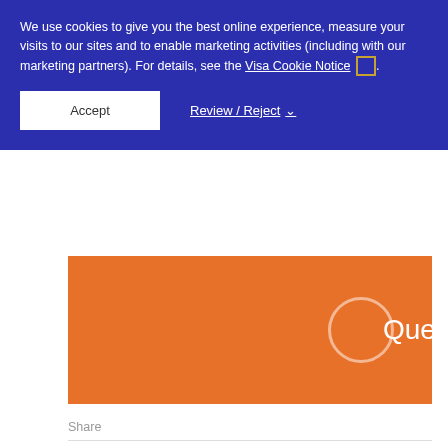We use cookies to give you the best online experience, measure your visits to our sites and to enable marketing activities (including with our marketing partners). For details, see the Visa Cookie Notice .
Accept
Review / Reject
[Figure (other): Orange banner section with circular outline and 'Questions' text]
Share
[Figure (other): Social media icons: Facebook (f) and Twitter (bird)]
Featured